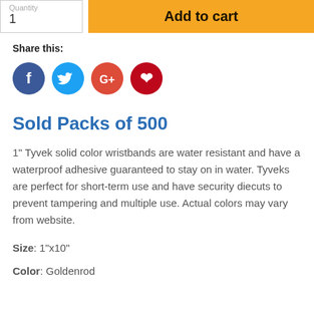Quantity
1
Add to cart
Share this:
[Figure (illustration): Social media sharing icons: Facebook (blue circle with f), Twitter (light blue circle with bird), Google+ (red circle with G+), Pinterest (dark red circle with P)]
Sold Packs of 500
1" Tyvek solid color wristbands are water resistant and have a waterproof adhesive guaranteed to stay on in water. Tyveks are perfect for short-term use and have security diecuts to prevent tampering and multiple use. Actual colors may vary from website.
Size: 1"x10"
Color: Goldenrod